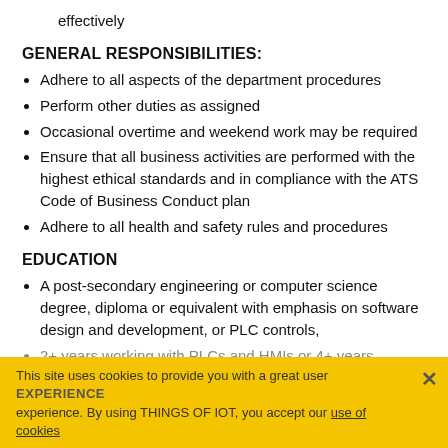effectively
GENERAL RESPONSIBILITIES:
Adhere to all aspects of the department procedures
Perform other duties as assigned
Occasional overtime and weekend work may be required
Ensure that all business activities are performed with the highest ethical standards and in compliance with the ATS Code of Business Conduct plan
Adhere to all health and safety rules and procedures
EDUCATION
A post-secondary engineering or computer science degree, diploma or equivalent with emphasis on software design and development, or PLC controls,
This site uses cookies to provide you with a great user EXPERIENCE experience. By using THINGS OF IOT, you accept our use of cookies
2+ years working with PLCs and HMIs or 4+ years working in a manufacturing environment